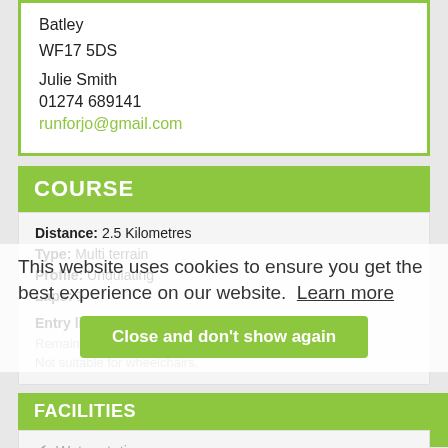Batley
WF17 5DS

Julie Smith

01274 689141

runforjo@gmail.com
COURSE
Distance: 2.5 Kilometres
Type: Multi terrain
Profile: Undulating
Laps: 1

Entry limit: 500
Remaining places: 360
Not suitable for wheelchairs.
FACILITIES
Water stations
Toilets
Baggage store
This website uses cookies to ensure you get the best experience on our website. Learn more
Close and don't show again